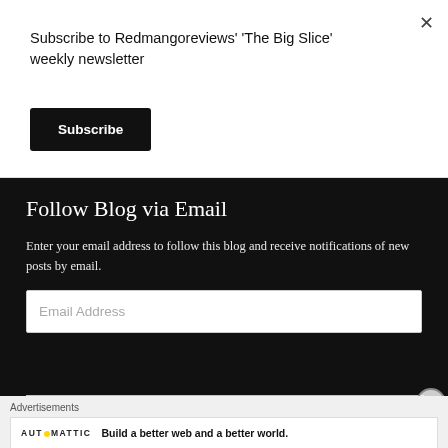Subscribe to Redmangoreviews' 'The Big Slice' weekly newsletter
Subscribe
Follow Blog via Email
Enter your email address to follow this blog and receive notifications of new posts by email.
Email Address
Advertisements
AUTOMATTIC
Build a better web and a better world.